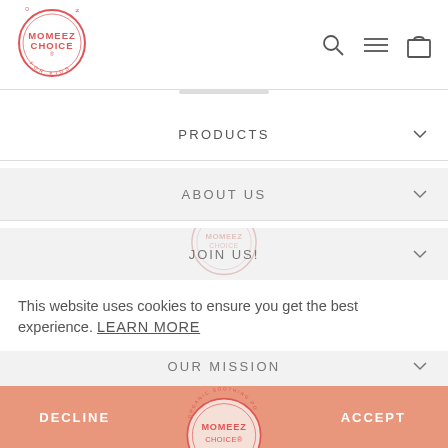[Figure (logo): Momeez Choice organic soothing pops for kids circular red logo]
[Figure (logo): Navigation icons: search, hamburger menu, shopping bag]
PRODUCTS
ABOUT US
JOIN US!
[Figure (logo): Momeez Choice watermark logo in center of page]
OUR MISSION
This website uses cookies to ensure you get the best experience. LEARN MORE
[Figure (logo): Momeez Choice organic soothing pops circular logo partially visible at bottom]
DECLINE
ACCEPT